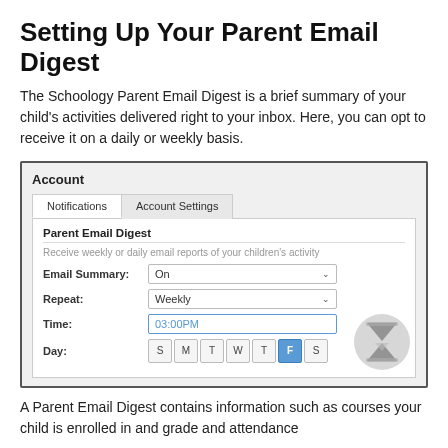Setting Up Your Parent Email Digest
The Schoology Parent Email Digest is a brief summary of your child's activities delivered right to your inbox. Here, you can opt to receive it on a daily or weekly basis.
[Figure (screenshot): Screenshot of Schoology Account Notifications settings showing Parent Email Digest options: Email Summary set to On, Repeat set to Weekly, Time set to 03:00PM, Day set to Friday (F highlighted). An hourglass/loading icon appears in the bottom right corner.]
A Parent Email Digest contains information such as courses your child is enrolled in and grade and attendance